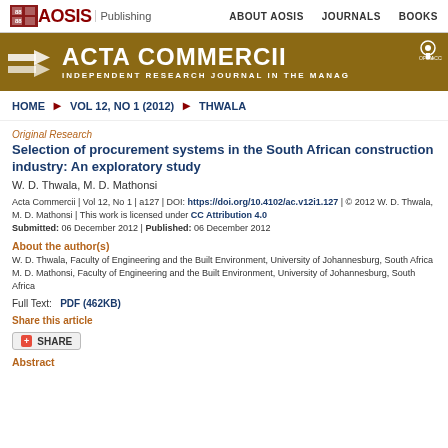AOSIS Publishing | ABOUT AOSIS | JOURNALS | BOOKS
[Figure (logo): AOSIS Publishing logo with banner showing ACTA COMMERCII - Independent Research Journal in the Management Sciences]
HOME ▶ VOL 12, NO 1 (2012) ▶ THWALA
Original Research
Selection of procurement systems in the South African construction industry: An exploratory study
W. D. Thwala, M. D. Mathonsi
Acta Commercii | Vol 12, No 1 | a127 | DOI: https://doi.org/10.4102/ac.v12i1.127 | © 2012 W. D. Thwala, M. D. Mathonsi | This work is licensed under CC Attribution 4.0 Submitted: 06 December 2012 | Published: 06 December 2012
About the author(s)
W. D. Thwala, Faculty of Engineering and the Built Environment, University of Johannesburg, South Africa
M. D. Mathonsi, Faculty of Engineering and the Built Environment, University of Johannesburg, South Africa
Full Text: PDF (462KB)
Share this article
Abstract